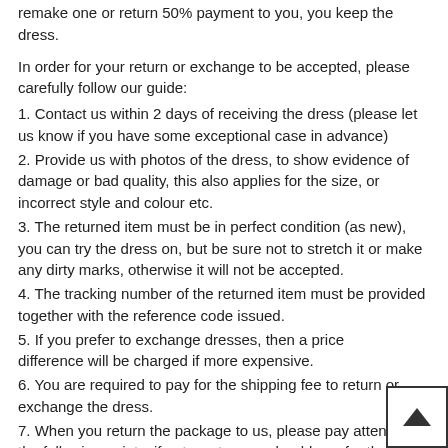remake one or return 50% payment to you, you keep the dress.
In order for your return or exchange to be accepted, please carefully follow our guide:
1. Contact us within 2 days of receiving the dress (please let us know if you have some exceptional case in advance)
2. Provide us with photos of the dress, to show evidence of damage or bad quality, this also applies for the size, or incorrect style and colour etc.
3. The returned item must be in perfect condition (as new), you can try the dress on, but be sure not to stretch it or make any dirty marks, otherwise it will not be accepted.
4. The tracking number of the returned item must be provided together with the reference code issued.
5. If you prefer to exchange dresses, then a price difference will be charged if more expensive.
6. You are required to pay for the shipping fee to return or exchange the dress.
7. When you return the package to us, please pay attention to the following points, if not, customers should pay for the duty:
we put all of our energy and mind into each dress, each of our dress are full of love, our long experience and skilled craftsmanship keep less return rate till now, but if there are our problems, we could return all your payment, for more details, please see our FAQ.